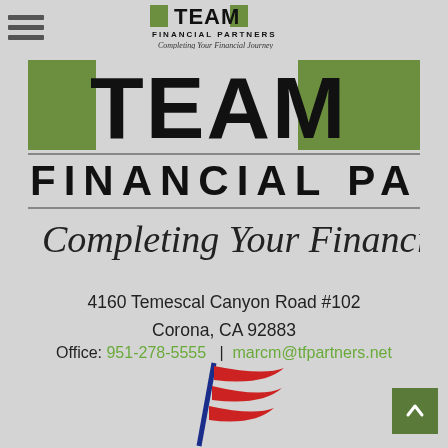[Figure (logo): Team Financial Partners logo in page header - small version with green squares, TEAM text, FINANCIAL PARTNERS text, and Completing Your Financial Journey tagline]
[Figure (logo): Team Financial Partners large logo - green squares flanking TEAM in bold black, FINANCIAL PARTNERS below, italic tagline Completing Your Financial Journey]
4160 Temescal Canyon Road #102
Corona, CA 92883
Office: 951-278-5555  |  marcm@tfpartners.net
[Figure (logo): Ameritas or similar financial company logo - red and blue flag/swoosh mark, partially visible at bottom of page]